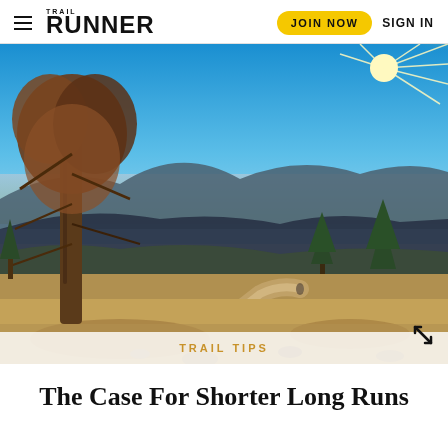Trail Runner — JOIN NOW  SIGN IN
[Figure (photo): Scenic mountain trail with a pine tree on the left, dry golden grasses, rolling mountain ridges in the middle distance, vast flatlands in the far background, and a brilliant sun bursting from the upper right corner of a deep blue sky.]
TRAIL TIPS
The Case For Shorter Long Runs